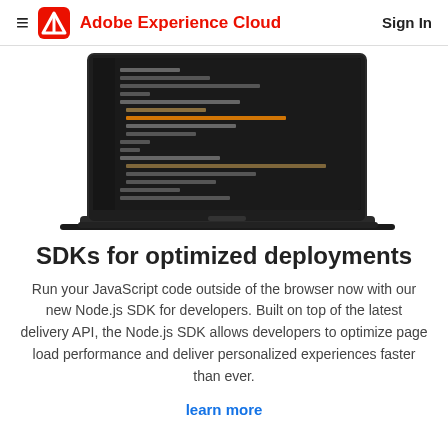Adobe Experience Cloud | Sign In
[Figure (screenshot): Laptop computer showing a dark code editor with JavaScript/programming code displayed on screen]
SDKs for optimized deployments
Run your JavaScript code outside of the browser now with our new Node.js SDK for developers. Built on top of the latest delivery API, the Node.js SDK allows developers to optimize page load performance and deliver personalized experiences faster than ever.
learn more